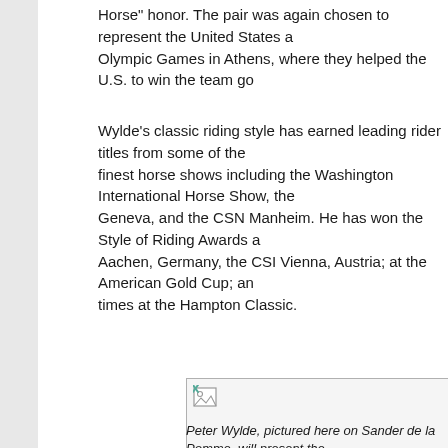Horse" honor. The pair was again chosen to represent the United States a... Olympic Games in Athens, where they helped the U.S. to win the team go...
Wylde's classic riding style has earned leading rider titles from some of the finest horse shows including the Washington International Horse Show, the... Geneva, and the CSN Manheim. He has won the Style of Riding Awards a... Aachen, Germany, the CSI Vienna, Austria; at the American Gold Cup; an... times at the Hampton Classic.
[Figure (photo): A photo placeholder showing a broken image icon, representing a photo of Peter Wylde on Sander de la Pomme.]
Peter Wylde, pictured here on Sander de la Pomme, will present the...